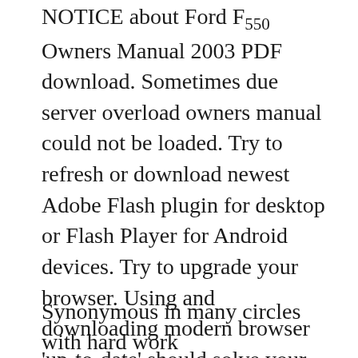NOTICE about Ford F550 Owners Manual 2003 PDF download. Sometimes due server overload owners manual could not be loaded. Try to refresh or download newest Adobe Flash plugin for desktop or Flash Player for Android devices. Try to upgrade your browser. Using and downloading modern browser 'up-to-date' should solve your problem in most cases. Car owners manuals, booklets and guides. Manuals for cars that you can read, download in PDF or print. Ford F550 Owners Manual. Ford F550 Owners Manual 2003 . Ford F550 Owners Manual 2004. Ford F550 Owners Manual 2004 . Ford F550 Owners Manual 2005. Ford F550 Owners Manual 2005 .
Synonymous in many circles with hard work